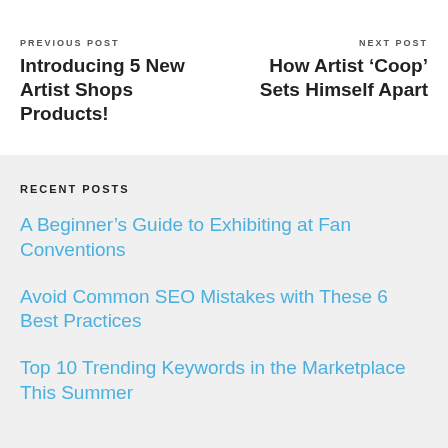PREVIOUS POST
Introducing 5 New Artist Shops Products!
NEXT POST
How Artist ‘Coop’ Sets Himself Apart
RECENT POSTS
A Beginner’s Guide to Exhibiting at Fan Conventions
Avoid Common SEO Mistakes with These 6 Best Practices
Top 10 Trending Keywords in the Marketplace This Summer